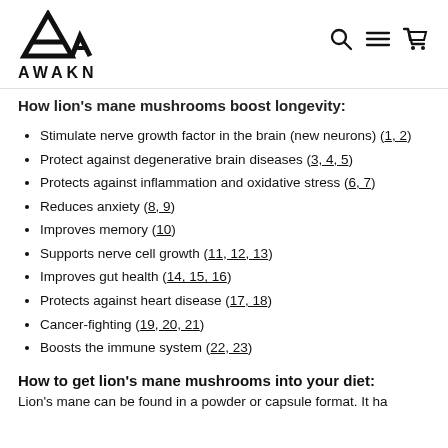AWAKN
How lion's mane mushrooms boost longevity:
Stimulate nerve growth factor in the brain (new neurons) (1, 2)
Protect against degenerative brain diseases (3, 4, 5)
Protects against inflammation and oxidative stress (6, 7)
Reduces anxiety (8, 9)
Improves memory (10)
Supports nerve cell growth (11, 12, 13)
Improves gut health (14, 15, 16)
Protects against heart disease (17, 18)
Cancer-fighting (19, 20, 21)
Boosts the immune system (22, 23)
How to get lion's mane mushrooms into your diet:
Lion's mane can be found in a powder or capsule format. It ha...